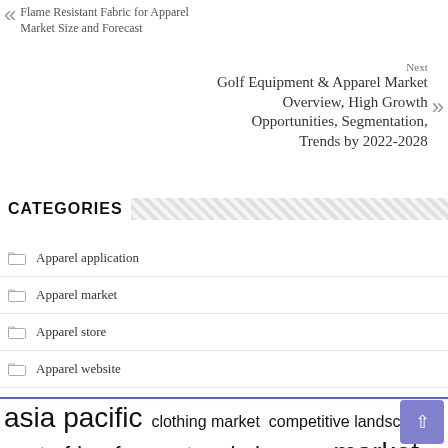« Flame Resistant Fabric for Apparel Market Size and Forecast
Next Golf Equipment & Apparel Market Overview, High Growth Opportunities, Segmentation, Trends by 2022-2028 »
CATEGORIES
Apparel application
Apparel market
Apparel store
Apparel website
asia pacific  clothing market  competitive landscape  east africa  forecast period  key players  market report  market research  market share  market size  middle east  north america  research report  south america